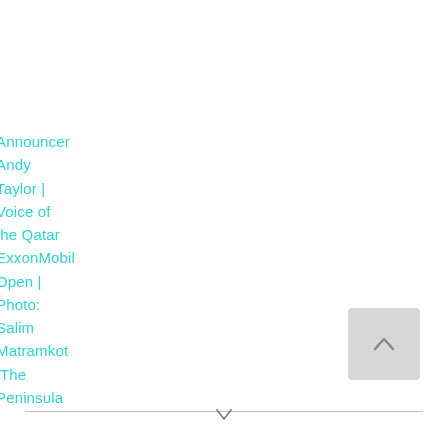Announcer Andy Taylor | Voice of the Qatar ExxonMobil Open | Photo: Salim Matramkot The Peninsula